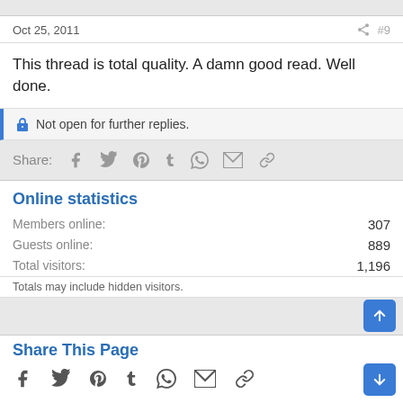Oct 25, 2011  #9
This thread is total quality. A damn good read. Well done.
Not open for further replies.
Share:
Online statistics
|  |  |
| --- | --- |
| Members online: | 307 |
| Guests online: | 889 |
| Total visitors: | 1,196 |
Totals may include hidden visitors.
Share This Page